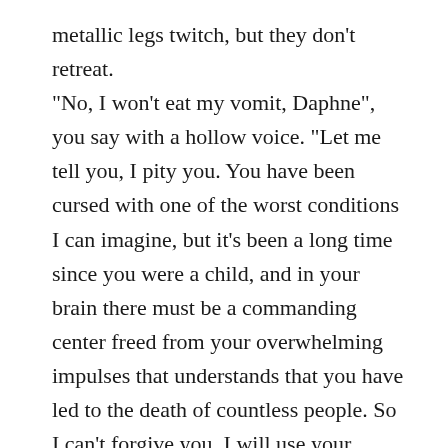metallic legs twitch, but they don't retreat. "No, I won't eat my vomit, Daphne", you say with a hollow voice. "Let me tell you, I pity you. You have been cursed with one of the worst conditions I can imagine, but it's been a long time since you were a child, and in your brain there must be a commanding center freed from your overwhelming impulses that understands that you have led to the death of countless people. So I can't forgive you. I will use your advice and erase the Great Rabbit from this world." "Hwoe hwoe!" You look into Daphne's disgusting open mouth, and stare into the blackness of her throat. "… Was that an attempt at mocking me?" "Nobody hash managed 'o kill my babiesh in hundredsh